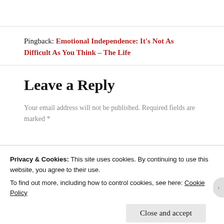Pingback: Emotional Independence: It's Not As Difficult As You Think – The Life
Leave a Reply
Your email address will not be published. Required fields are marked *
Privacy & Cookies: This site uses cookies. By continuing to use this website, you agree to their use.
To find out more, including how to control cookies, see here: Cookie Policy